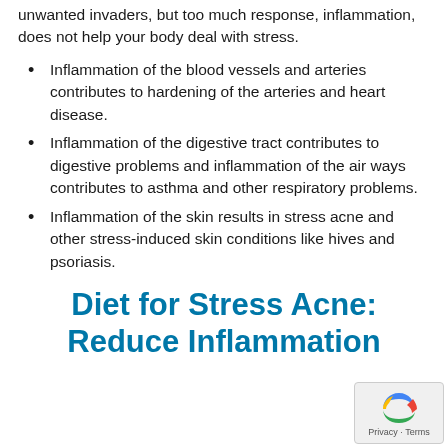unwanted invaders, but too much response, inflammation, does not help your body deal with stress.
Inflammation of the blood vessels and arteries contributes to hardening of the arteries and heart disease.
Inflammation of the digestive tract contributes to digestive problems and inflammation of the air ways contributes to asthma and other respiratory problems.
Inflammation of the skin results in stress acne and other stress-induced skin conditions like hives and psoriasis.
Diet for Stress Acne: Reduce Inflammation